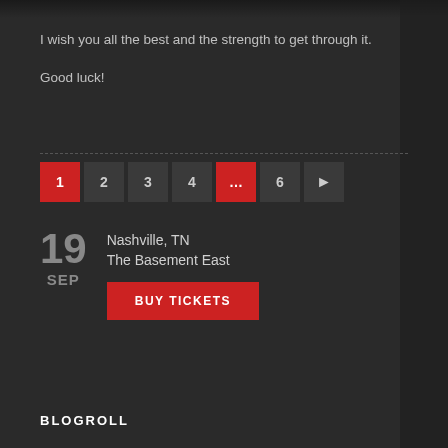I wish you all the best and the strength to get through it.
Good luck!
1 | 2 | 3 | 4 | ... | 6 | >
19 SEP – Nashville, TN – The Basement East
BUY TICKETS
BLOGROLL